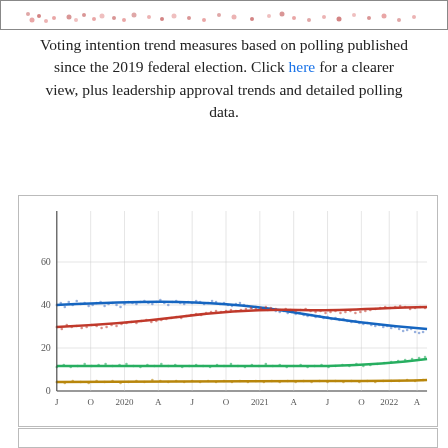[Figure (continuous-plot): Top strip showing scattered red/pink data points (polling data) across time axis, partially visible at top of page]
Voting intention trend measures based on polling published since the 2019 federal election. Click here for a clearer view, plus leadership approval trends and detailed polling data.
[Figure (continuous-plot): Line chart showing Canadian federal voting intention trends from 2019 to 2022. Blue line starts ~43% declining to ~33-35% by 2022. Red line starts ~31% rising to ~38-39% by 2022. Green line stays steady ~11-13%. Gold/yellow line stays steady ~5-6%. X-axis shows years J O 2020 A J O 2021 A J O 2022 A. Y-axis shows 0, 20, 40, 60.]